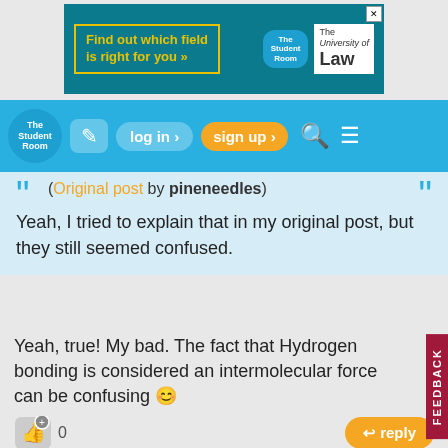[Figure (screenshot): Advertisement banner for The University of Law with text 'Find out which field is right for you »' on a teal background with The Student Room and University of Law logos]
[Figure (screenshot): The Student Room navigation bar with logo, edit icon, log in, sign up, search, and menu buttons on blue background]
(Original post by pineneedles)
Yeah, I tried to explain that in my original post, but they still seemed confused.
Yeah, true! My bad. The fact that Hydrogen bonding is considered an intermolecular force can be confusing 😊
0
reply
pineneedles
#11
Badges: 14  Rep:
Report
6 years ago